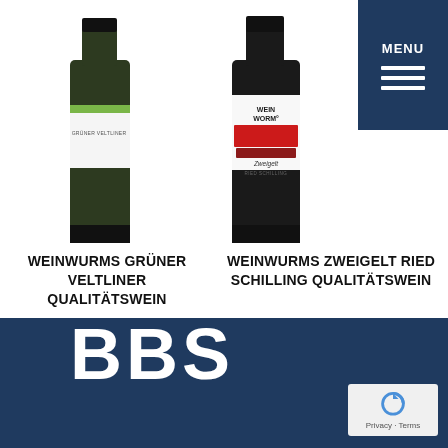[Figure (photo): Two wine bottles side by side. Left bottle: Weinwurms Grüner Veltliner with green and white label. Right bottle: Weinwurms Zweigelt Ried Schilling with colorful red label.]
[Figure (screenshot): Menu button in top-right corner with dark blue background, MENU text and three horizontal lines (hamburger icon).]
WEINWURMS GRÜNER VELTLINER QUALITÄTSWEIN
WEINWURMS ZWEIGELT RIED SCHILLING QUALITÄTSWEIN
[Figure (logo): BBS logo in large white bold letters on dark navy blue background, with reCAPTCHA badge in the bottom-right corner showing Privacy - Terms.]